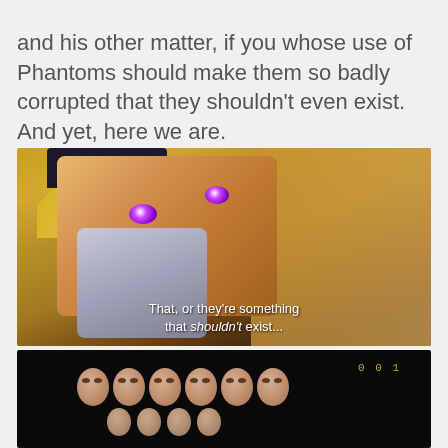and his other matter, if you whose use of Phantoms should make them so badly corrupted that they shouldn't even exist. And yet, here we are.
[Figure (screenshot): Anime screenshot of a blonde character with purple glowing eyes holding a cloth to their face, with subtitle text: 'That, or they're something that shouldn't exist...']
[Figure (screenshot): Dark anime screenshot showing multiple pale oval-shaped masked or featureless faces arranged in rows against a dark background, with numbers visible in upper right]